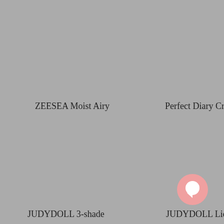ZEESEA Moist Airy
Perfect Diary Cruelty-
[Figure (screenshot): Modal dialog on a gray background with language selector. Contains title 'Your language is set to English', a blue 'Shop in English' button, a 'Change language' underlined link, and an X close button.]
[Figure (illustration): Pink chat bubble icon in bottom right corner]
JUDYDOLL 3-shade
JUDYDOLL Liquid